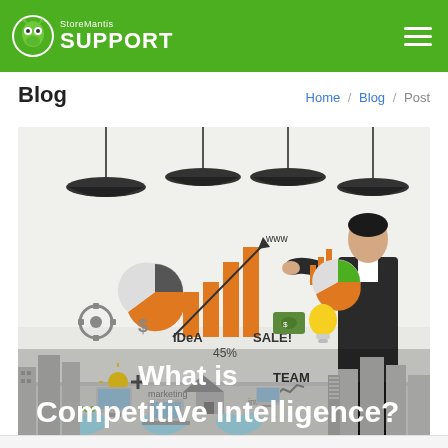StoreMantis SUPPORT
Blog
Home / Blog / Post
[Figure (illustration): Business/marketing illustration showing a man in a suit drawing on a whiteboard filled with charts, graphs, icons, text elements (IDEA, SALE!, TEAM, 45%, www, marketing, internet, success) and business concepts. Four pendant lamps hang from the ceiling. Text overlay reads 'What is Competitive Intelligence?']